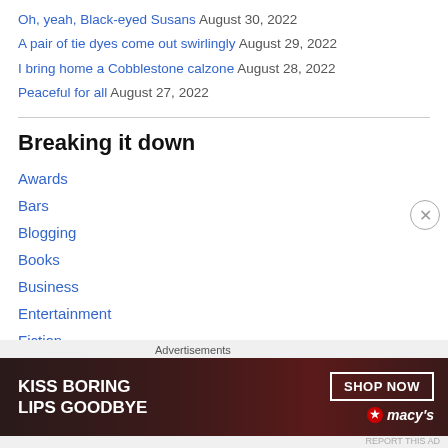Oh, yeah, Black-eyed Susans August 30, 2022
A pair of tie dyes come out swirlingly August 29, 2022
I bring home a Cobblestone calzone August 28, 2022
Peaceful for all August 27, 2022
Breaking it down
Awards
Bars
Blogging
Books
Business
Entertainment
Fiction
Food
Advertisements
[Figure (photo): Macy's advertisement banner showing a woman's face with red lips. Text reads: KISS BORING LIPS GOODBYE with SHOP NOW button and Macy's logo.]